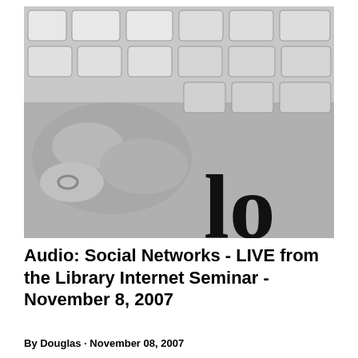[Figure (photo): Black and white close-up photograph of a hand with a ring typing on a keyboard, with large letters 'lo' partially visible overlaid at the bottom right.]
Audio: Social Networks - LIVE from the Library Internet Seminar - November 8, 2007
By Douglas · November 08, 2007